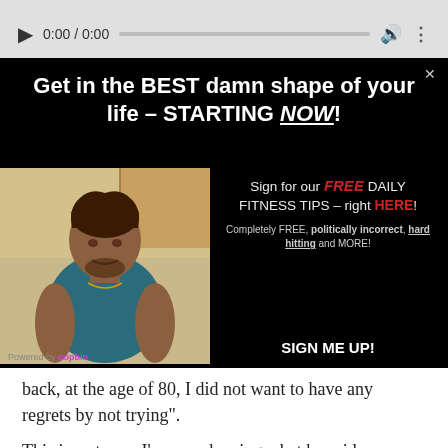[Figure (screenshot): Video player controls: play button, time display 0:00 / 0:00, progress bar, volume icon, more options icon on grey background]
[Figure (screenshot): Popup modal on black background with headline 'Get in the BEST damn shape of your life - STARTING NOW!', photo of a muscular man in blue tank top, signup text 'Sign for our FREE DAILY FITNESS TIPS - right HERE!', subtext 'Completely FREE, politically incorrect, hard hitting and MORE!', and 'SIGN ME UP!' button. Powered by popbin footer.]
back, at the age of 80, I did not want to have any regrets by not trying".
This is so true – I'm paraphrasing what he said,